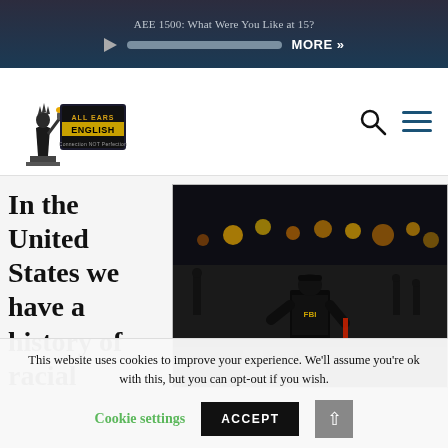AEE 1500: What Were You Like at 15?
[Figure (logo): All Ears English podcast logo with Statue of Liberty illustration and text 'Connection NOT Perfection']
In the United States we have a history of racial
[Figure (photo): Police officers in riot gear standing on a street at night with colorful lights in the background]
This website uses cookies to improve your experience. We'll assume you're ok with this, but you can opt-out if you wish.
Cookie settings  ACCEPT